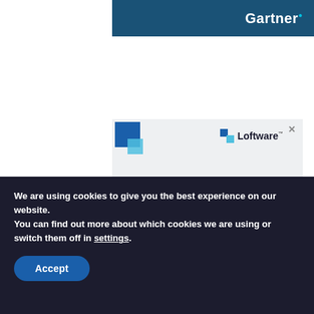Gartner
[Figure (illustration): Loftware advertisement with blue geometric squares logo top-left, Loftware brand name top-right, large headline text 'Turning roadblocks into pathways to success', and subtext 'How to address the top four labeling challenges facing medical device manufacturers']
We are using cookies to give you the best experience on our website.
You can find out more about which cookies we are using or switch them off in settings.
Accept